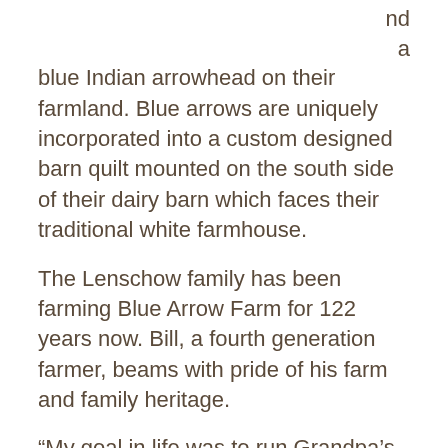nd
a
blue Indian arrowhead on their farmland. Blue arrows are uniquely incorporated into a custom designed barn quilt mounted on the south side of their dairy barn which faces their traditional white farmhouse.
The Lenschow family has been farming Blue Arrow Farm for 122 years now. Bill, a fourth generation farmer, beams with pride of his farm and family heritage.
“My goal in life was to run Grandpa’s farm,” explained Bill, who has been farming it since 1959.
The Lenschows milked as many as 170 cows in the height of their dairy days. They also showed their